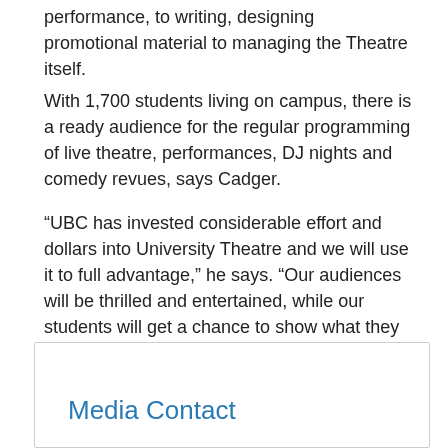performance, to writing, designing promotional material to managing the Theatre itself.
With 1,700 students living on campus, there is a ready audience for the regular programming of live theatre, performances, DJ nights and comedy revues, says Cadger.
“UBC has invested considerable effort and dollars into University Theatre and we will use it to full advantage,” he says. “Our audiences will be thrilled and entertained, while our students will get a chance to show what they can do.”
— 30 —
Media Contact